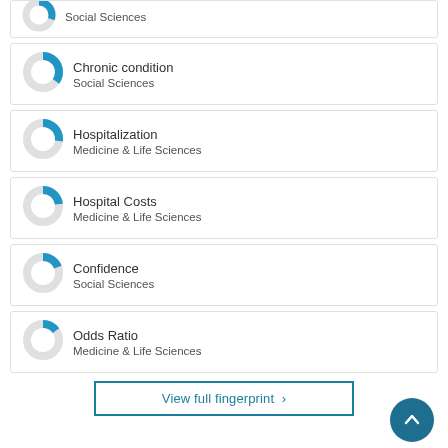[Figure (donut-chart): Partial donut chart item - Social Sciences (cropped at top)]
[Figure (donut-chart): Donut chart for Chronic condition - Social Sciences]
[Figure (donut-chart): Donut chart for Hospitalization - Medicine & Life Sciences]
[Figure (donut-chart): Donut chart for Hospital Costs - Medicine & Life Sciences]
[Figure (donut-chart): Donut chart for Confidence - Social Sciences]
[Figure (donut-chart): Donut chart for Odds Ratio - Medicine & Life Sciences]
View full fingerprint >